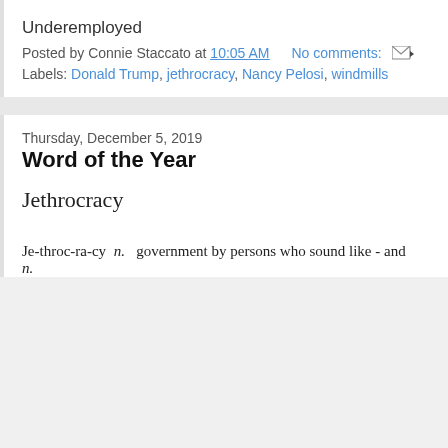Underemployed
Posted by Connie Staccato at 10:05 AM    No comments:
Labels: Donald Trump, jethrocracy, Nancy Pelosi, windmills
Thursday, December 5, 2019
Word of the Year
Jethrocracy
Je-throc-ra-cy  n.  government by persons who sound like - and n.